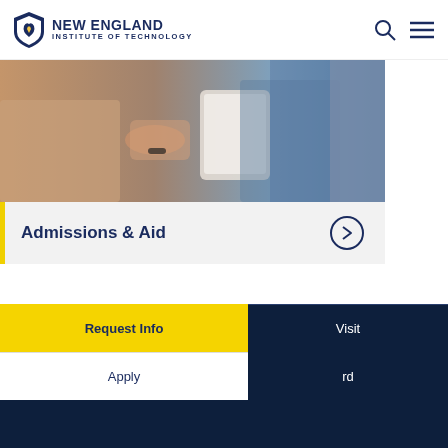NEW ENGLAND INSTITUTE OF TECHNOLOGY
[Figure (photo): Two people looking at a tablet/document together, blurred background]
Admissions & Aid
[Figure (logo): New England Institute of Technology logo (white version on dark background)]
Request Info
Visit
Apply
rd